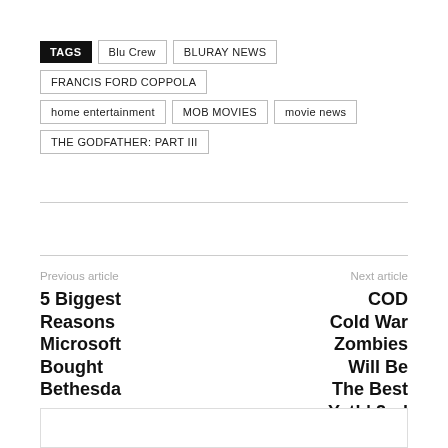TAGS | Blu Crew | BLURAY NEWS | FRANCIS FORD COPPOLA | home entertainment | MOB MOVIES | movie news | THE GODFATHER: PART III
Previous article
Next article
5 Biggest Reasons Microsoft Bought Bethesda
COD Cold War Zombies Will Be The Best Yet! | 2nd Opinion Podcast #301